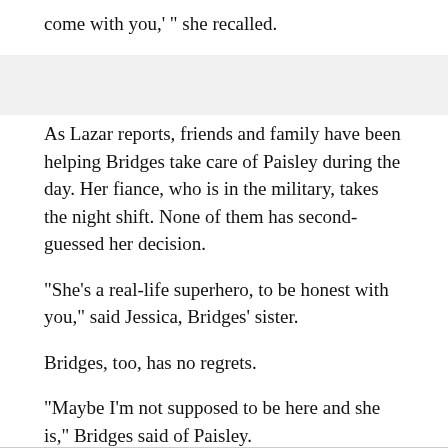come with you,' " she recalled.
As Lazar reports, friends and family have been helping Bridges take care of Paisley during the day. Her fiance, who is in the military, takes the night shift. None of them has second-guessed her decision.
"She's a real-life superhero, to be honest with you," said Jessica, Bridges' sister.
Bridges, too, has no regrets.
"Maybe I'm not supposed to be here and she is," Bridges said of Paisley.